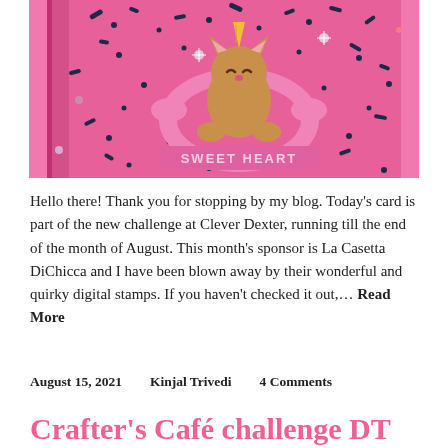[Figure (photo): A handmade greeting card with pink background and dark blue botanical print. A cute cartoon cat/rabbit sits inside a pink unicorn pool float. Text label reads 'SWEET HEART' on a pink banner. Card has sparkle embellishments.]
Hello there! Thank you for stopping by my blog. Today's card is part of the new challenge at Clever Dexter, running till the end of the month of August. This month's sponsor is La Casetta DiChicca and I have been blown away by their wonderful and quirky digital stamps. If you haven't checked it out,… Read More
August 15, 2021    Kinjal Trivedi    4 Comments
Crafter's Café challenge DT